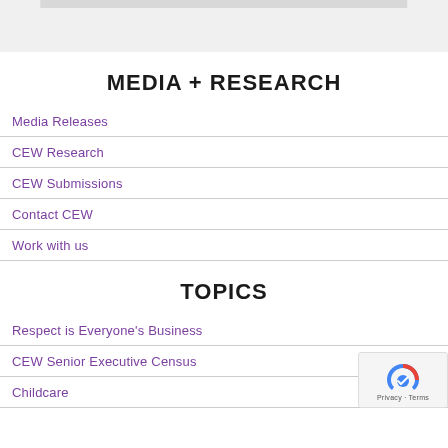MEDIA + RESEARCH
Media Releases
CEW Research
CEW Submissions
Contact CEW
Work with us
TOPICS
Respect is Everyone's Business
CEW Senior Executive Census
Childcare